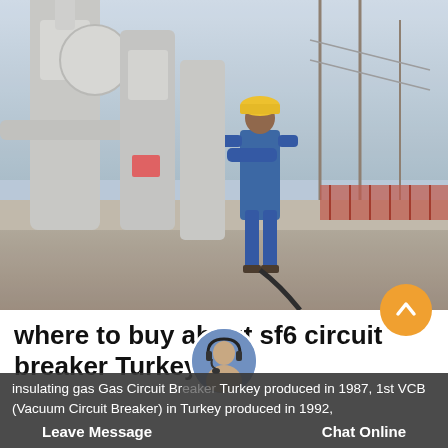[Figure (photo): Worker in blue coveralls and yellow hard hat standing at an electrical substation next to large grey SF6 gas insulated circuit breaker equipment. High voltage infrastructure visible in background.]
where to buy about sf6 circuit breaker Turkey
insulating gas Gas Circuit Breaker Turkey produced in 1987, 1st VCB (Vacuum Circuit Breaker) in Turkey produced in 1992,